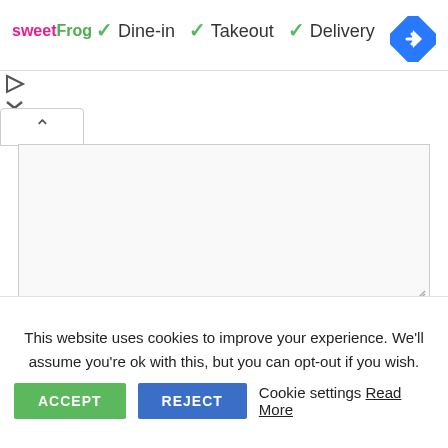[Figure (logo): sweetFrog logo — 'sweet' in pink/magenta and 'Frog' in green bold text]
✓ Dine-in ✓ Takeout ✓ Delivery
[Figure (other): Blue diamond navigation/directions icon with white arrow]
[Figure (other): Play button icon (triangle) and X close icon]
[Figure (other): Collapse/up-arrow button (^) tab]
[Figure (screenshot): Large textarea input box, empty, with resize handle in bottom right]
Name *
Email *
This website uses cookies to improve your experience. We'll assume you're ok with this, but you can opt-out if you wish.
ACCEPT   REJECT   Cookie settings Read More